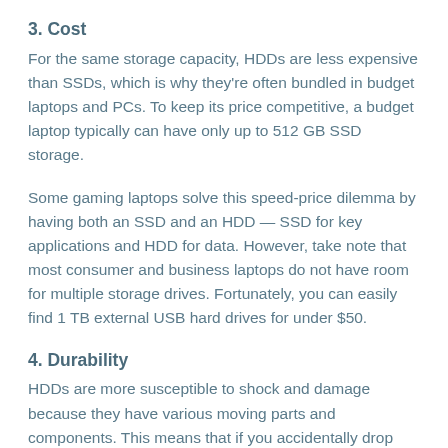3. Cost
For the same storage capacity, HDDs are less expensive than SSDs, which is why they're often bundled in budget laptops and PCs. To keep its price competitive, a budget laptop typically can have only up to 512 GB SSD storage.
Some gaming laptops solve this speed-price dilemma by having both an SSD and an HDD — SSD for key applications and HDD for data. However, take note that most consumer and business laptops do not have room for multiple storage drives. Fortunately, you can easily find 1 TB external USB hard drives for under $50.
4. Durability
HDDs are more susceptible to shock and damage because they have various moving parts and components. This means that if you accidentally drop your laptop, your HDD might get damaged and your